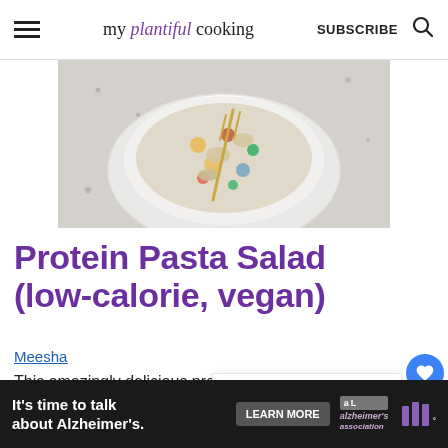my plantiful cooking | SUBSCRIBE
[Figure (photo): Overhead view of a pasta salad in a white speckled bowl with a gold fork, on a light grey speckled surface]
Protein Pasta Salad (low-calorie, vegan)
Meesha
This amazingly delicious protein pasta salad is delicious, healthy, and vegan! Pa... a creamy Italian dressing, this recipe only requires a handful of simple ingredients and
[Figure (photo): What's Next panel showing Healthy Oatmeal thumbnail]
[Figure (screenshot): Advertisement bar: It's time to talk about Alzheimer's. LEARN MORE button. Alzheimer's association logo.]